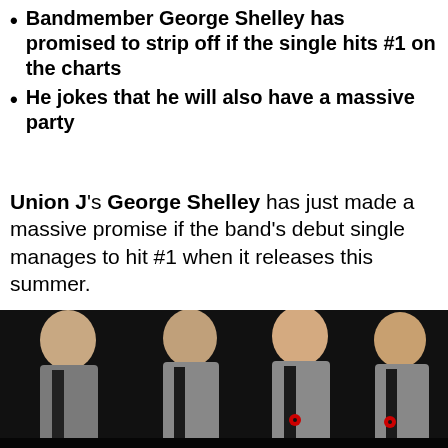Bandmember George Shelley has promised to strip off if the single hits #1 on the charts
He jokes that he will also have a massive party
Union J's George Shelley has just made a massive promise if the band's debut single manages to hit #1 when it releases this summer.
[Figure (photo): Four young men in grey suits with black ties wearing red poppy pins, posing together against a dark background]